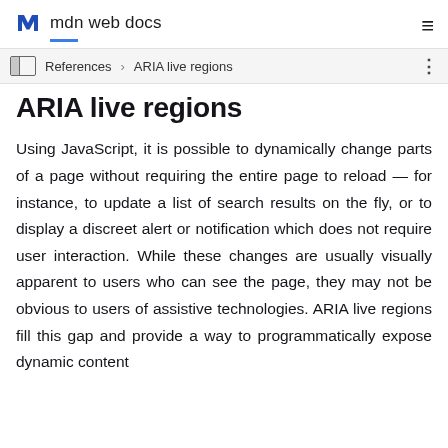MDN web docs
References > ARIA live regions
ARIA live regions
Using JavaScript, it is possible to dynamically change parts of a page without requiring the entire page to reload — for instance, to update a list of search results on the fly, or to display a discreet alert or notification which does not require user interaction. While these changes are usually visually apparent to users who can see the page, they may not be obvious to users of assistive technologies. ARIA live regions fill this gap and provide a way to programmatically expose dynamic content